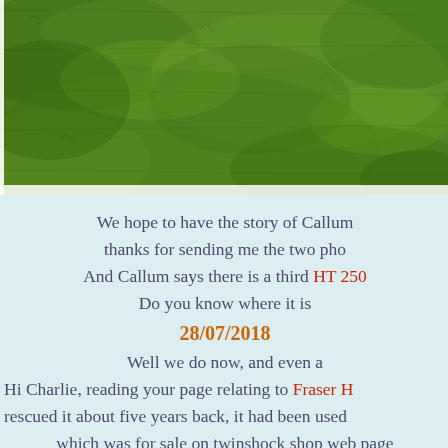[Figure (photo): Aerial or ground-level photograph of green grass/lawn covering the upper portion of the page]
We hope to have the story of Callum thanks for sending me the two pho And Callum says there is a third HT 250 Do you know where it is 28/07/2018 Well we do now, and even a Hi Charlie, reading your page relating to Fraser H rescued it about five years back, it had been used which was for sale on twinshock shop web page four HT250 bikes that still survive, now back in